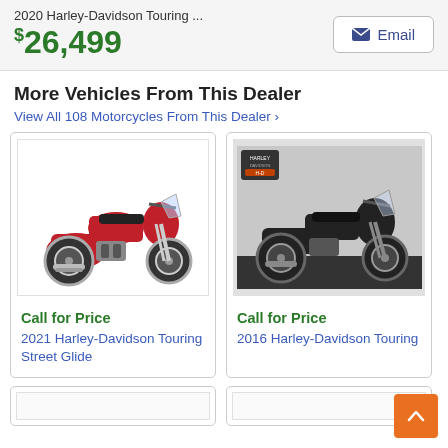2020 Harley-Davidson Touring ... $26,499
More Vehicles From This Dealer
View All 108 Motorcycles From This Dealer ›
[Figure (photo): Red 2021 Harley-Davidson Touring Street Glide motorcycle on white background]
Call for Price
2021 Harley-Davidson Touring Street Glide
[Figure (photo): Black 2016 Harley-Davidson Touring motorcycle on dark background with Harley-Davidson logo]
Call for Price
2016 Harley-Davidson Touring